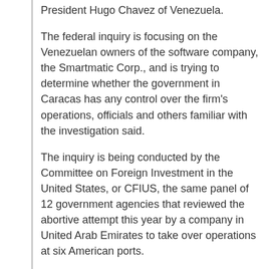President Hugo Chavez of Venezuela.
The federal inquiry is focusing on the Venezuelan owners of the software company, the Smartmatic Corp., and is trying to determine whether the government in Caracas has any control over the firm's operations, officials and others familiar with the investigation said.
The inquiry is being conducted by the Committee on Foreign Investment in the United States, or CFIUS, the same panel of 12 government agencies that reviewed the abortive attempt this year by a company in United Arab Emirates to take over operations at six American ports.
The committee's inquiry into Smartmatic and its subsidiary, Sequoia Voting Systems of Oakland, Calif., was first reported Saturday in The Miami Herald.
Sequoia makes electronic voting machines used in Denver and Arapahoe County.
Officials of Smartmatic and the Venezuelan government strongly denied Saturday that Chavez's administration, which has been bitterly at odds with the White House, has any role in running Smartmatic.